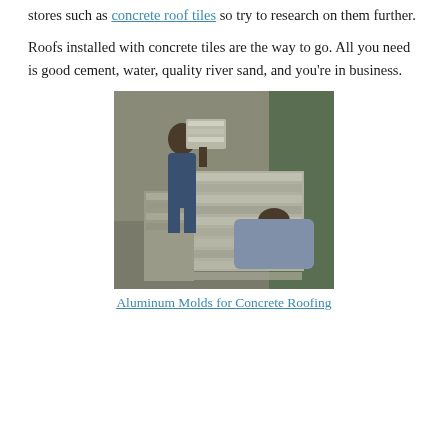stores such as concrete roof tiles so try to research on them further.
Roofs installed with concrete tiles are the way to go. All you need is good cement, water, quality river sand, and you're in business.
[Figure (photo): Workers handling stacked aluminum molds for concrete roofing tiles in a warehouse or factory setting.]
Aluminum Molds for Concrete Roofing